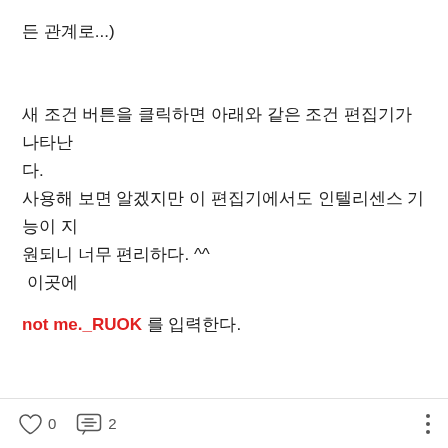든 관계로...)
새 조건 버튼을 클릭하면 아래와 같은 조건 편집기가 나타난다.
사용해 보면 알겠지만 이 편집기에서도 인텔리센스 기능이 지원되니 너무 편리하다.  ^^
 이곳에
not me._RUOK 를 입력한다.
0   2